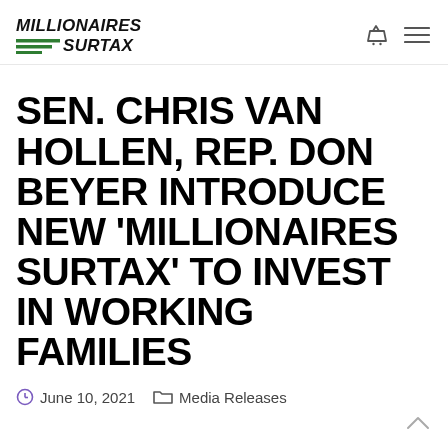MILLIONAIRES SURTAX
SEN. CHRIS VAN HOLLEN, REP. DON BEYER INTRODUCE NEW 'MILLIONAIRES SURTAX' TO INVEST IN WORKING FAMILIES
June 10, 2021  Media Releases